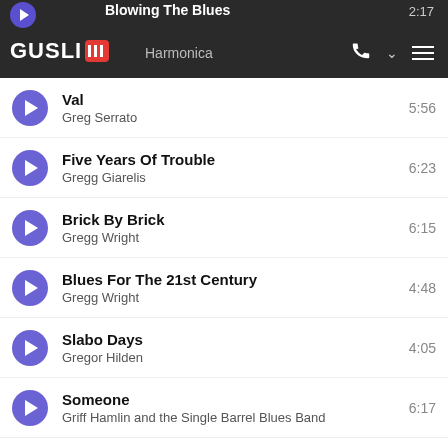Blowing The Blues / Harmonica — GUSLI app header, time 2:17
Val — Greg Serrato — 5:56
Five Years Of Trouble — Gregg Giarelis — 6:23
Brick By Brick — Gregg Wright — 6:15
Blues For The 21st Century — Gregg Wright — 4:48
Slabo Days — Gregor Hilden — 4:05
Someone — Griff Hamlin and the Single Barrel Blues Band — 6:17
You Are Still The One — 5:46